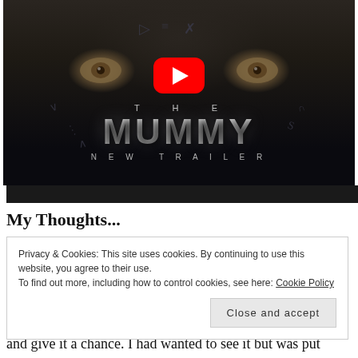[Figure (screenshot): YouTube video thumbnail for 'The Mummy - New Trailer' showing a close-up face with ancient markings, YouTube play button overlay, and metallic title text 'THE MUMMY NEW TRAILER']
My Thoughts...
Privacy & Cookies: This site uses cookies. By continuing to use this website, you agree to their use.
To find out more, including how to control cookies, see here: Cookie Policy
and give it a chance. I had wanted to see it but was put